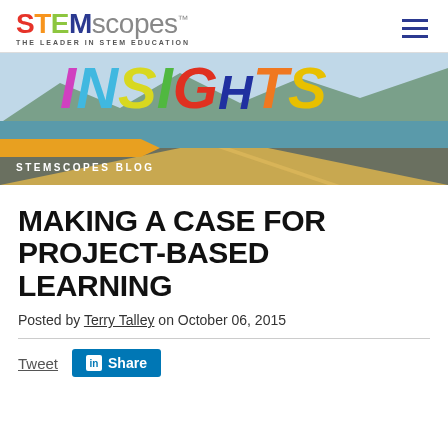STEMscopes™ — THE LEADER IN STEM EDUCATION
[Figure (illustration): STEMscopes Insights blog banner with colorful INSIGHTS lettering over a landscape background with road and water, subtitle: STEMSCOPES BLOG]
MAKING A CASE FOR PROJECT-BASED LEARNING
Posted by Terry Talley on October 06, 2015
Tweet  Share